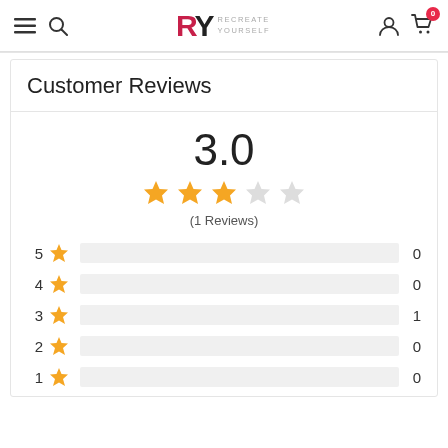RY RECREATE YOURSELF — navigation header with hamburger, search, logo, user icon, cart (0)
Customer Reviews
3.0
[Figure (other): 3-star rating out of 5, shown as 3 filled stars and 2 empty stars]
(1 Reviews)
5 ★ 0
4 ★ 0
3 ★ 1
2 ★ 0
1 ★ 0